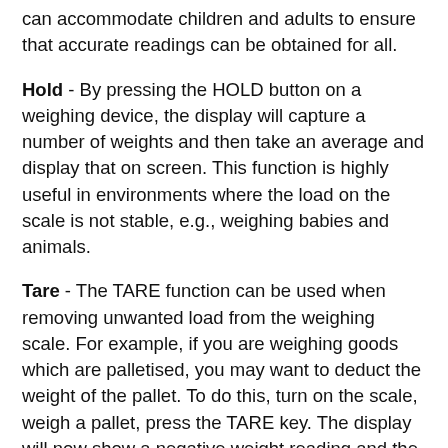can accommodate children and adults to ensure that accurate readings can be obtained for all.
Hold - By pressing the HOLD button on a weighing device, the display will capture a number of weights and then take an average and display that on screen. This function is highly useful in environments where the load on the scale is not stable, e.g., weighing babies and animals.
Tare - The TARE function can be used when removing unwanted load from the weighing scale. For example, if you are weighing goods which are palletised, you may want to deduct the weight of the pallet. To do this, turn on the scale, weigh a pallet, press the TARE key. The display will now show a negative weight reading and the palletised goods can be weighed, and an accurate reading can be obtained.
Class III Approved - In relation to the medical sector